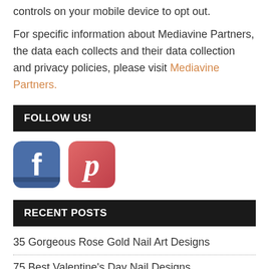controls on your mobile device to opt out.
For specific information about Mediavine Partners, the data each collects and their data collection and privacy policies, please visit Mediavine Partners.
FOLLOW US!
[Figure (illustration): Facebook logo icon and Pinterest logo icon side by side]
RECENT POSTS
35 Gorgeous Rose Gold Nail Art Designs
75 Best Valentine's Day Nail Designs